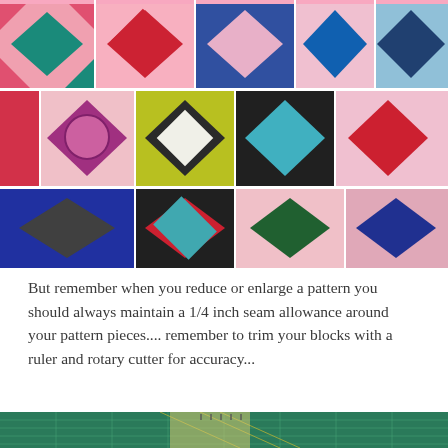[Figure (photo): Colorful patchwork quilt blocks arranged in a grid pattern, featuring diamond-shaped center squares on contrasting backgrounds with various fabric prints including florals, geometric patterns, and novelty prints in pink, teal, navy, red, green, and other colors.]
But remember when you reduce or enlarge a pattern you should always maintain a 1/4 inch seam allowance around your pattern pieces.... remember to trim your blocks with a ruler and rotary cutter for accuracy...
[Figure (photo): Partial view of a green cutting mat with a clear quilting ruler, used for trimming quilt blocks for accuracy.]